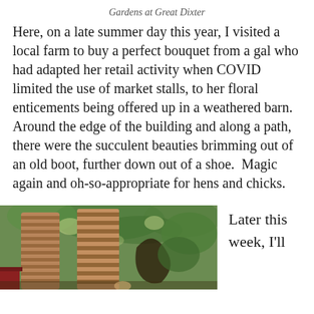Gardens at Great Dixter
Here, on a late summer day this year, I visited a local farm to buy a perfect bouquet from a gal who had adapted her retail activity when COVID limited the use of market stalls, to her floral enticements being offered up in a weathered barn. Around the edge of the building and along a path, there were the succulent beauties brimming out of an old boot, further down out of a shoe.  Magic again and oh-so-appropriate for hens and chicks.
[Figure (photo): Outdoor garden photo showing tall striped or mottled tropical-looking plant trunks or structures with green foliage and dappled light, with a red shed visible in background.]
Later this week, I'll